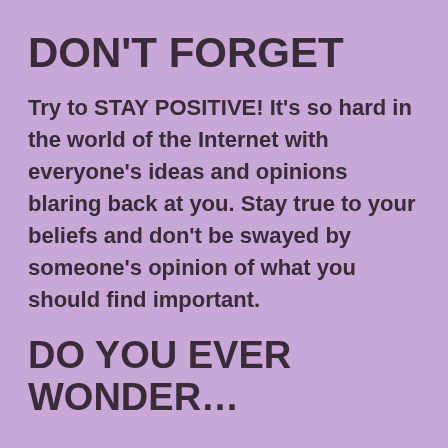DON'T FORGET
Try to STAY POSITIVE! It’s so hard in the world of the Internet with everyone’s ideas and opinions blaring back at you. Stay true to your beliefs and don’t be swayed by someone’s opinion of what you should find important.
DO YOU EVER WONDER…